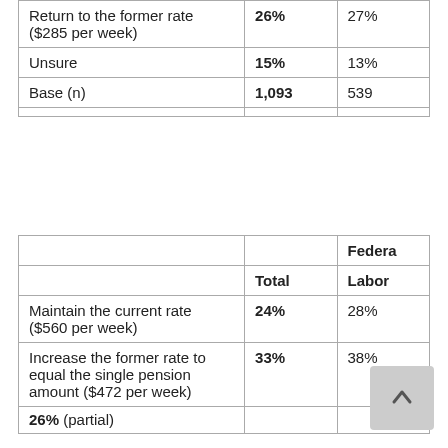|  | Total | Federa Labor |
| --- | --- | --- |
| Return to the former rate ($285 per week) | 26% | 27% |
| Unsure | 15% | 13% |
| Base (n) | 1,093 | 539 |
|  | Total | Federa
Labor |
| --- | --- | --- |
| Maintain the current rate ($560 per week) | 24% | 28% |
| Increase the former rate to equal the single pension amount ($472 per week) | 33% | 38% |
| Return to the former rate... | 26% | 29% |